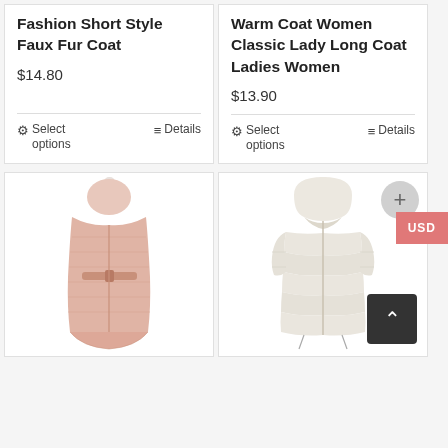Fashion Short Style Faux Fur Coat
$14.80
Warm Coat Women Classic Lady Long Coat Ladies Women
$13.90
[Figure (photo): Pink sleeveless belted faux fur vest coat on mannequin]
[Figure (photo): Cream/beige hooded puffer coat on mannequin]